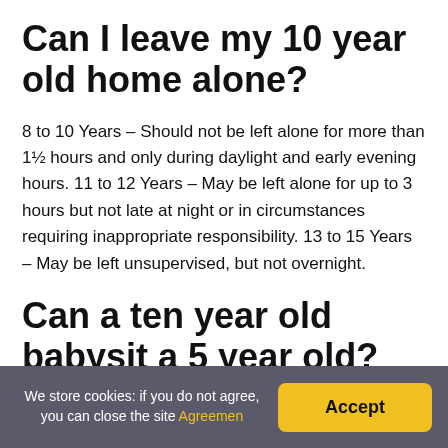Can I leave my 10 year old home alone?
8 to 10 Years – Should not be left alone for more than 1½ hours and only during daylight and early evening hours. 11 to 12 Years – May be left alone for up to 3 hours but not late at night or in circumstances requiring inappropriate responsibility. 13 to 15 Years – May be left unsupervised, but not overnight.
Can a ten year old babysit a 5 year old?
We store cookies: if you do not agree, you can close the site Agreemen